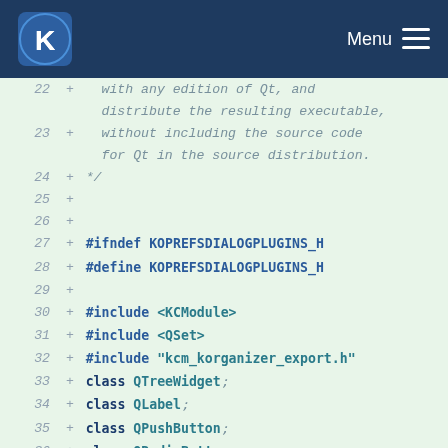KDE Menu
[Figure (screenshot): Code diff view showing lines 22-39 of a C++ header file with added lines (marked with +), displayed on a mint-green background. Lines include license comment continuation, preprocessor guards for KOPREFSDIALOGPLUGINS_H, include statements for KCModule, QSet, kcm_korganizer_export.h, and forward declarations for QTreeWidget, QLabel, QPushButton, QRadioButton, QGroupBox, QTreeWidgetItem.]